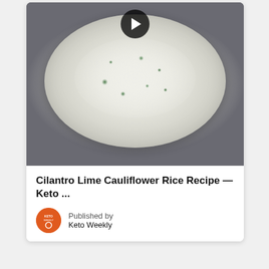[Figure (photo): A white bowl filled with cauliflower rice mixed with cilantro and lime, photographed from above on a dark grey background. A play button icon is visible at the top center.]
Cilantro Lime Cauliflower Rice Recipe — Keto ...
Published by
Keto Weekly